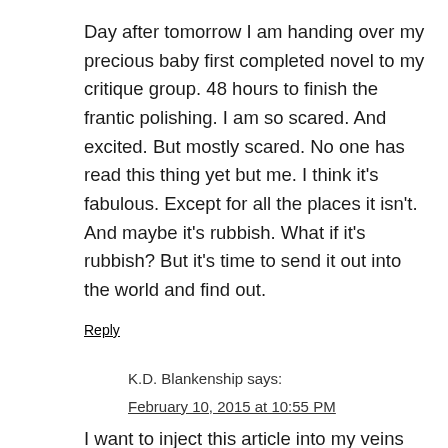Day after tomorrow I am handing over my precious baby first completed novel to my critique group. 48 hours to finish the frantic polishing. I am so scared. And excited. But mostly scared. No one has read this thing yet but me. I think it's fabulous. Except for all the places it isn't. And maybe it's rubbish. What if it's rubbish? But it's time to send it out into the world and find out.
Reply
K.D. Blankenship says:
February 10, 2015 at 10:55 PM
I want to inject this article into my veins